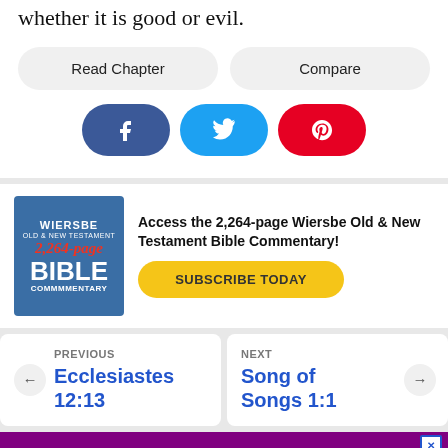whether it is good or evil.
Read Chapter | Compare
[Figure (other): Social share buttons: Facebook (blue), Twitter (cyan), Pinterest (red)]
[Figure (other): Wiersbe Old & New Testament Bible Commentary book cover advertisement]
Access the 2,264-page Wiersbe Old & New Testament Bible Commentary!
SUBSCRIBE TODAY
PREVIOUS Ecclesiastes 12:13
NEXT Song of Songs 1:1
[Figure (other): Purple advertisement banner with close (X) button]